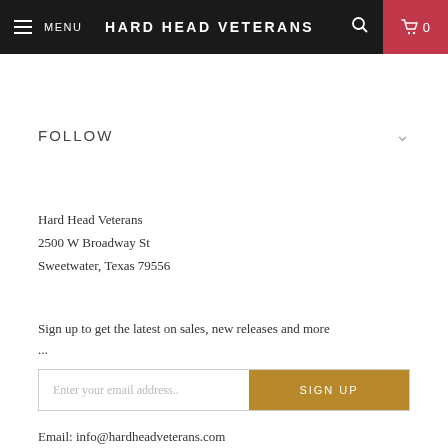MENU  HARD HEAD VETERANS  0
FOLLOW
Hard Head Veterans
2500 W Broadway St
Sweetwater, Texas 79556
Sign up to get the latest on sales, new releases and more ...
Enter your email address..  SIGN UP
Email: info@hardheadveterans.com
[Figure (other): Social media icons: Facebook, YouTube, Instagram, Email]